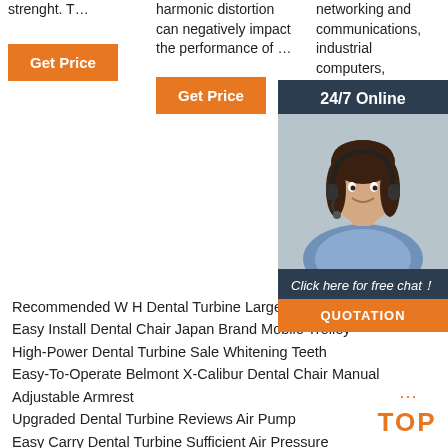strenght. T…
harmonic distortion can negatively impact the performance of …
networking and communications, industrial computers, laboratory instruments, and industrial control…
Get Price
Get Price
Get
[Figure (photo): Chat widget with 24/7 Online support agent photo and 'Click here for free chat!' text with QUOTATION button]
Recommended W H Dental Turbine Large Sto…
Easy Install Dental Chair Japan Brand Mobile Trolley
High-Power Dental Turbine Sale Whitening Teeth
Easy-To-Operate Belmont X-Calibur Dental Chair Manual Adjustable Armrest
Upgraded Dental Turbine Reviews Air Pump
Easy Carry Dental Turbine Sufficient Air Pressure
Environmentally Friendly Material Dental Chair Repair